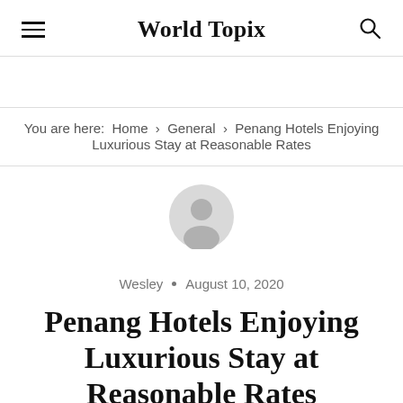World Topix
You are here: Home › General › Penang Hotels Enjoying Luxurious Stay at Reasonable Rates
[Figure (illustration): Generic user avatar icon — grey silhouette of a person on a light grey circle background]
Wesley · August 10, 2020
Penang Hotels Enjoying Luxurious Stay at Reasonable Rates